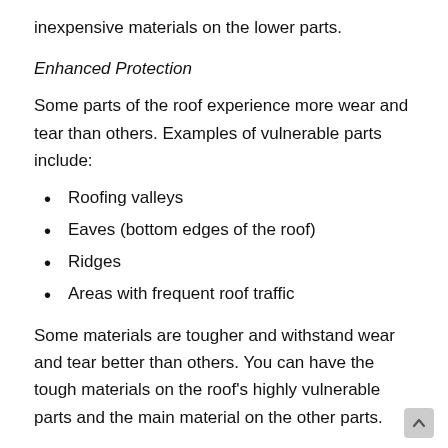inexpensive materials on the lower parts.
Enhanced Protection
Some parts of the roof experience more wear and tear than others. Examples of vulnerable parts include:
Roofing valleys
Eaves (bottom edges of the roof)
Ridges
Areas with frequent roof traffic
Some materials are tougher and withstand wear and tear better than others. You can have the tough materials on the roof's highly vulnerable parts and the main material on the other parts.